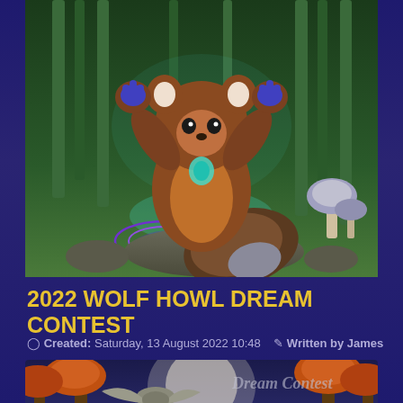[Figure (illustration): Digital illustration of a red panda-like creature with large fluffy tail, raised paws with blue paw pads, standing on a rock in a bamboo forest setting with mystical purple swirls beneath it and a mushroom in the right background.]
2022 WOLF HOWL DREAM CONTEST
Created: Saturday, 13 August 2022 10:48   Written by James
[Figure (illustration): Partial view of a second illustration showing an eagle or bird with spread wings flying in front of a large moon, with autumn-colored trees on sides and 'Dream Contest' text watermark visible.]